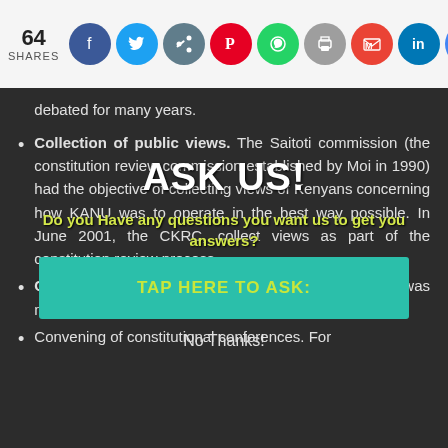[Figure (infographic): Social share bar with 64 shares count and icons for Facebook, Twitter, Share, Pinterest, WhatsApp, Print, Gmail, LinkedIn, Google]
debated for many years.
Collection of public views. The Saitoti commission (the constitution review commission established by Moi in 1990) had the objective of collecting views of Kenyans concerning how KANU was to operate in the best way possible. In June 2001, the CKRC, collect views as part of the constitution review process.
[Figure (infographic): ASK US! popup overlay with heading 'ASK US!', subtext 'Do you Have any questions you want us to get you answers?', a teal button 'TAP HERE TO ASK:', and 'No Thanks!' link]
Civic education. In 2001, the Ghai Commission was mandated and funded to provide civic education .
Convening of constitutional conferences. For